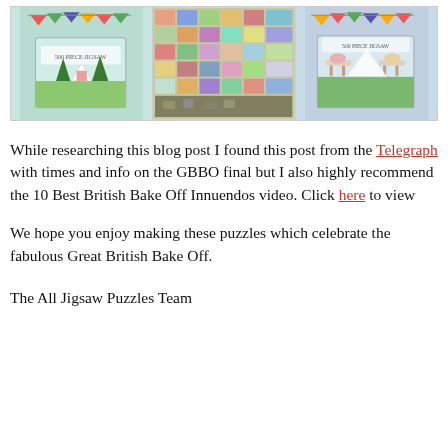[Figure (photo): Three Great British Bake Off jigsaw puzzle boxes shown in a row with a border. Left: light blue/green box, center: collage-style mosaic image, right: another puzzle box with outdoor scene.]
While researching this blog post I found this post from the Telegraph with times and info on the GBBO final but I also highly recommend the 10 Best British Bake Off Innuendos video. Click here to view
We hope you enjoy making these puzzles which celebrate the fabulous Great British Bake Off.
The All Jigsaw Puzzles Team